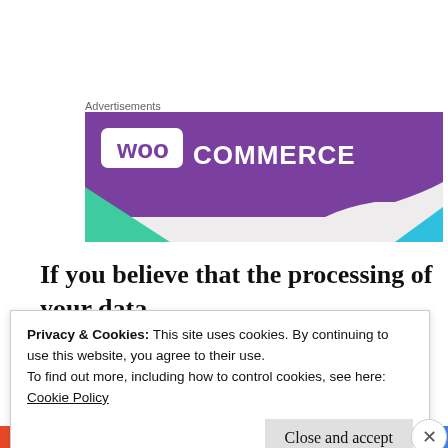Advertisements
[Figure (logo): WooCommerce advertisement banner with purple background, WooCommerce logo in white, green triangle bottom-left, blue triangle bottom-right]
If you believe that the processing of your data
Privacy & Cookies: This site uses cookies. By continuing to use this website, you agree to their use.
To find out more, including how to control cookies, see here:
Cookie Policy
Close and accept